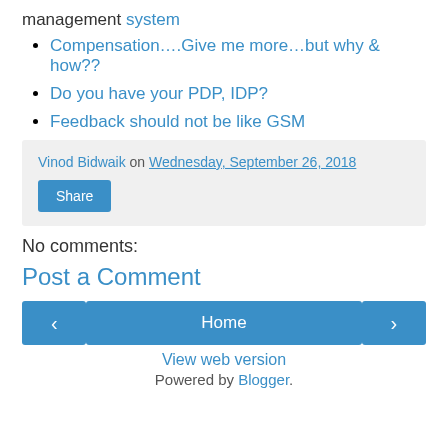management system
Compensation….Give me more…but why & how??
Do you have your PDP, IDP?
Feedback should not be like GSM
Vinod Bidwaik on Wednesday, September 26, 2018
Share
No comments:
Post a Comment
‹
Home
›
View web version
Powered by Blogger.